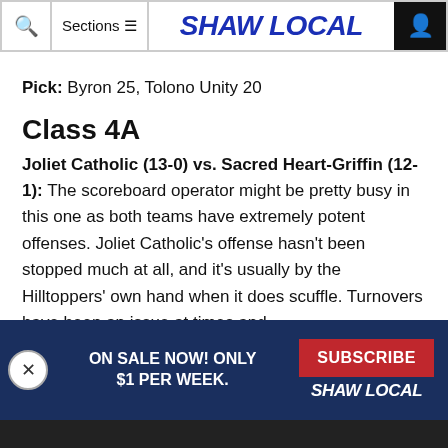Shaw Local — navigation bar with search, sections, logo, and user icon
Pick: Byron 25, Tolono Unity 20
Class 4A
Joliet Catholic (13-0) vs. Sacred Heart-Griffin (12-1): The scoreboard operator might be pretty busy in this one as both teams have extremely potent offenses. Joliet Catholic's offense hasn't been stopped much at all, and it's usually by the Hilltoppers' own hand when it does scuffle. Turnovers have been an issue at times and
[Figure (screenshot): Advertisement overlay: dark navy background with close (X) button, 'ON SALE NOW! ONLY $1 PER WEEK.' text, red SUBSCRIBE button, and Shaw Local italic logo in white.]